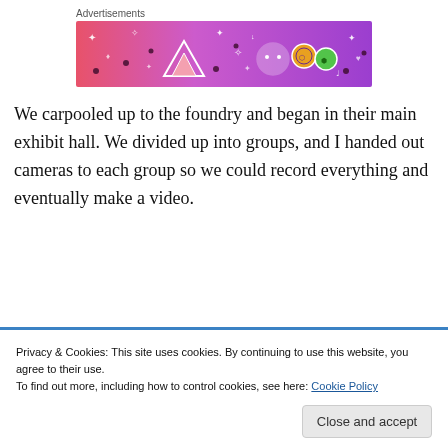Advertisements
[Figure (illustration): Advertisement banner with pink-to-purple gradient background with decorative white and colorful illustrated icons including dice, flowers, arrows, a ghost, and musical notes.]
We carpooled up to the foundry and began in their main exhibit hall. We divided up into groups, and I handed out cameras to each group so we could record everything and eventually make a video.
Privacy & Cookies: This site uses cookies. By continuing to use this website, you agree to their use.
To find out more, including how to control cookies, see here: Cookie Policy
Close and accept